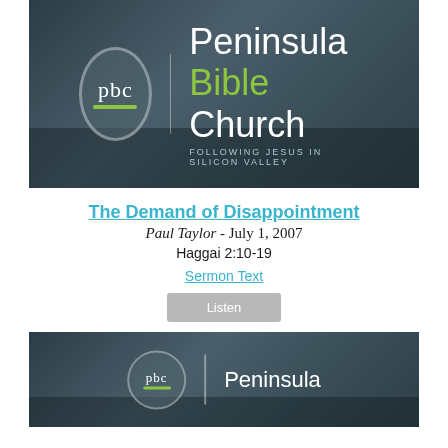[Figure (photo): Peninsula Bible Church banner image with logo — circular pbc logo with green underline, vertical divider bar, and text reading 'Peninsula Bible Church / FOLLOWING JESUS IN SILICON VALLEY' on a dark blurred church interior background.]
The Demand of Disappointment
Paul Taylor - July 1, 2007
Haggai 2:10-19
Sermon Text
Listen
[Figure (photo): Second Peninsula Bible Church banner image (partially visible) with pbc circular logo and 'Peninsula' text on dark blurred background.]